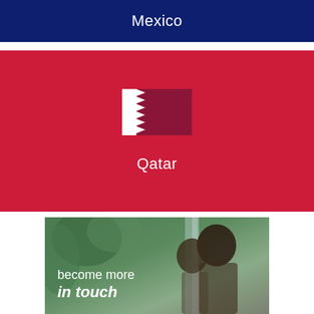Mexico
[Figure (infographic): Qatar country card with red background, Qatar flag (white and maroon with serrated edge), and text 'Qatar' in white]
[Figure (photo): Photo of couple in nature with waterfall background, overlaid with text 'become more in touch' in white handwritten style font]